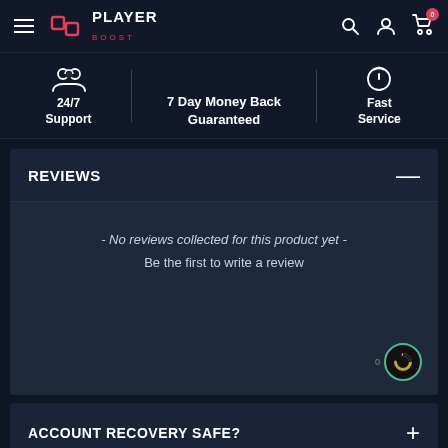PlayerBoost — Navigation bar with hamburger menu, logo, search, account, and cart (0 items)
24/7 Support | 7 Day Money Back Guaranteed | Fast Service
REVIEWS
- No reviews collected for this product yet - Be the first to write a review
ACCOUNT RECOVERY SAFE?